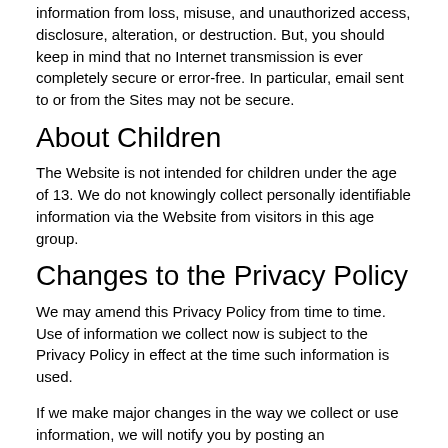information from loss, misuse, and unauthorized access, disclosure, alteration, or destruction. But, you should keep in mind that no Internet transmission is ever completely secure or error-free. In particular, email sent to or from the Sites may not be secure.
About Children
The Website is not intended for children under the age of 13. We do not knowingly collect personally identifiable information via the Website from visitors in this age group.
Changes to the Privacy Policy
We may amend this Privacy Policy from time to time. Use of information we collect now is subject to the Privacy Policy in effect at the time such information is used.
If we make major changes in the way we collect or use information, we will notify you by posting an announcement on the Website or sending you an email.